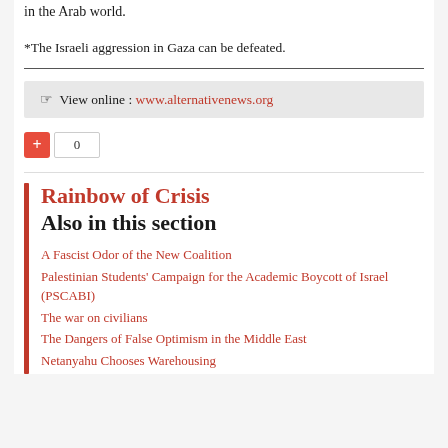in the Arab world.
*The Israeli aggression in Gaza can be defeated.
☞  View online : www.alternativenews.org
+ 0
Rainbow of Crisis
Also in this section
A Fascist Odor of the New Coalition
Palestinian Students' Campaign for the Academic Boycott of Israel (PSCABI)
The war on civilians
The Dangers of False Optimism in the Middle East
Netanyahu Chooses Warehousing